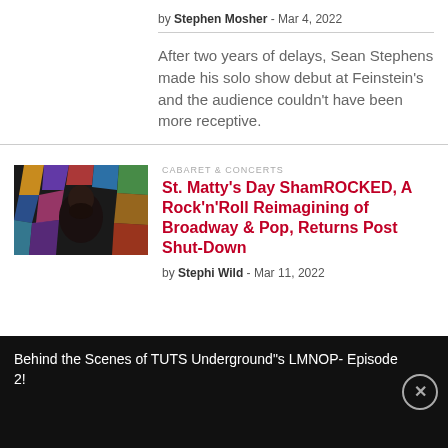by Stephen Mosher - Mar 4, 2022
After two years of delays, Sean Stephens made his solo show debut at Feinstein's and the audience couldn't have been more receptive.
[Figure (photo): Man with beard in front of stained glass window]
St. Matty's Day ShamROCKED, A Rock'n'Roll Reimagining of Broadway & Pop, Returns Post Shut-Down
by Stephi Wild - Mar 11, 2022
Behind the Scenes of TUTS Underground"s LMNOP- Episode 2!